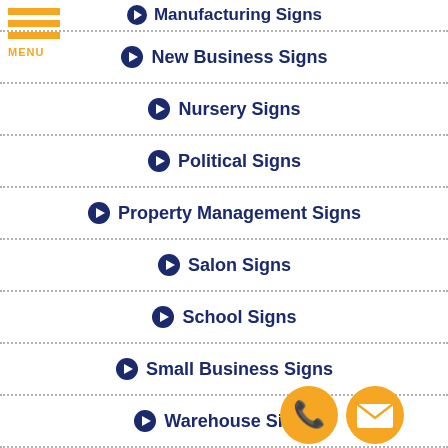Manufacturing Signs
New Business Signs
Nursery Signs
Political Signs
Property Management Signs
Salon Signs
School Signs
Small Business Signs
Warehouse Signs